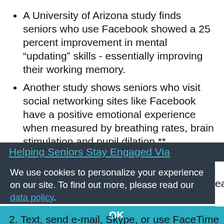A University of Arizona study finds seniors who use Facebook showed a 25 percent improvement in mental “updating” skills - essentially improving their working memory.
Another study shows seniors who visit social networking sites like Facebook have a positive emotional experience when measured by breathing rates, brain stimulation and pupil dilation.**
Helping Seniors Stay Engaged Via
We use cookies to personalize your experience on our site. To find out more, please read our data policy.
each
1. Use cell pho...
2. Text, send e-mail, Skype, or use FaceTime